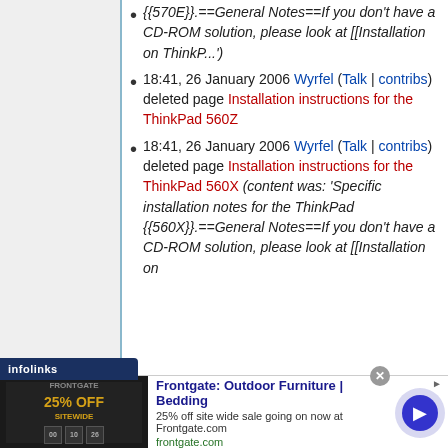{{570E}}.==General Notes==If you don't have a CD-ROM solution, please look at [[Installation on ThinkP...')
18:41, 26 January 2006 Wyrfel (Talk | contribs) deleted page Installation instructions for the ThinkPad 560Z
18:41, 26 January 2006 Wyrfel (Talk | contribs) deleted page Installation instructions for the ThinkPad 560X (content was: 'Specific installation notes for the ThinkPad {{560X}}.==General Notes==If you don't have a CD-ROM solution, please look at [[Installation on
[Figure (other): Infolinks advertisement banner - Frontgate: Outdoor Furniture | Bedding. 25% off site wide sale going on now at Frontgate.com. frontgate.com]